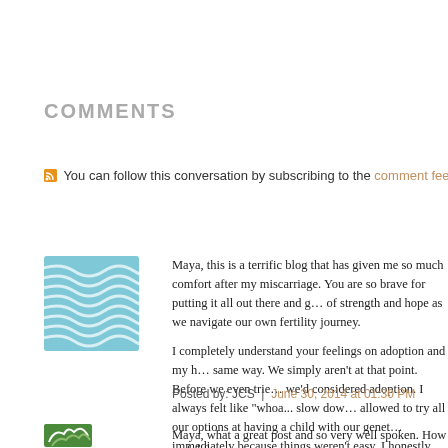COMMENTS
You can follow this conversation by subscribing to the comment feed
[Figure (illustration): Blue wavy pattern avatar image for commenter JCS]
Maya, this is a terrific blog that has given me so much comfort after my miscarriage. You are so brave for putting it all out there and give us a source of strength and hope as we navigate our own fertility journey.

I completely understand your feelings on adoption and my husband feels the same way. We simply aren't at that point. Before we even tried, we'd considered adoption. I always felt like "whoa... slow down, we are allowed to try all our options at having a child with our genetics... not jump immediately because things weren't easy. I honestly think the comments come from a place of love, that people just want your problem to be solved and to them, adoption seems like a good solution. It just isn't that simple. Whether it's ART, IVF, IUI, Donor Eggs, Donor Embryos, Adoption, etc.- it ha

Thank you again, Maya. You and your blog are awesome!!!
Posted by: JCS | June 30, 2014 at 01:30 PM
[Figure (illustration): Green and white leaf pattern avatar image for second commenter]
Maya, what a great post and so very well spoken. How awful f